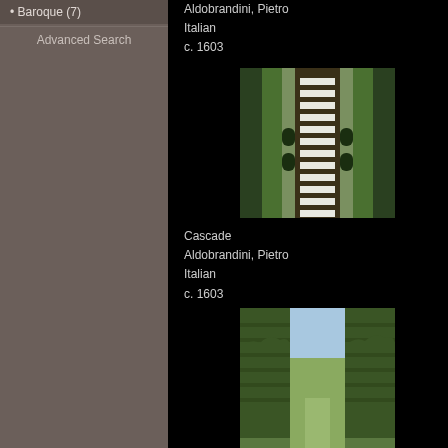• Baroque (7)
Advanced Search
Aldobrandini, Pietro
Italian
c. 1603
[Figure (photo): Aerial view of a cascade water feature with a long stepped channel flanked by trees, viewed from above]
Cascade
Aldobrandini, Pietro
Italian
c. 1603
[Figure (photo): Ground-level view of tall hedge walls forming a corridor, with sky visible above]